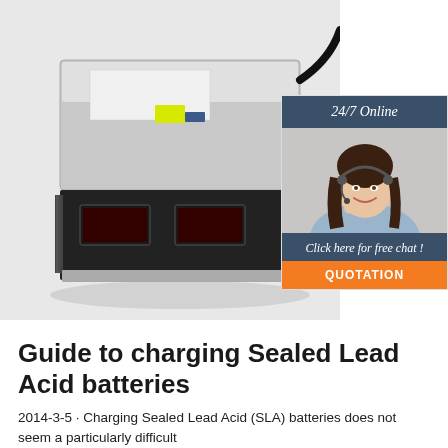[Figure (photo): Battery charger device — a large rack-mounted electronic unit with black front panel featuring two small display windows, silver/aluminium enclosure, heat sink fins on sides, and a cable coming out from the right side. Photographed on a white/grey background at an angle.]
[Figure (photo): Customer service chat widget. Top dark teal header reading '24/7 Online' in italic, photo of smiling brunette woman wearing a headset, dark teal footer reading 'Click here for free chat !' in italic, and an orange button labeled 'QUOTATION'.]
Guide to charging Sealed Lead Acid batteries
2014-3-5 · Charging Sealed Lead Acid (SLA) batteries does not seem a particularly difficult